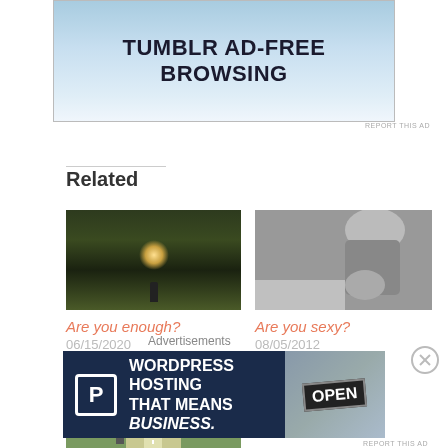[Figure (screenshot): Tumblr ad-free browsing advertisement banner with light blue gradient background]
REPORT THIS AD
Related
[Figure (photo): Dark tunnel with person silhouette and light at end]
Are you enough?
06/15/2020
In "Life Coaching"
[Figure (photo): Black and white photo of person in fitness pose]
Are you sexy?
08/05/2012
In "Life Coaching"
[Figure (photo): Road through rural landscape with person]
Advertisements
[Figure (screenshot): WordPress Hosting That Means Business advertisement with parking icon and OPEN sign]